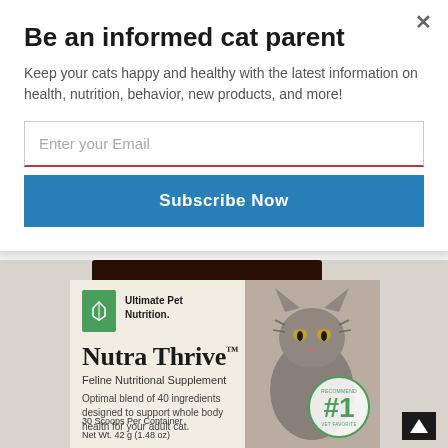Be an informed cat parent
Keep your cats happy and healthy with the latest information on health, nutrition, behavior, new products, and more!
[Figure (screenshot): Email input field with placeholder text 'Enter your Email' and a blue 'Subscribe Now' button below it]
[Figure (photo): Product photo of Nutra Thrive Feline Nutritional Supplement jar by Ultimate Pet Nutrition. Label reads: 'Optimal blend of 40 ingredients designed to support whole body health for your adult cat.' 30 Scoops Per Container, Net Wt. 42g (1.48 oz). Features a tabby cat and a #1 Vet Recommended badge.]